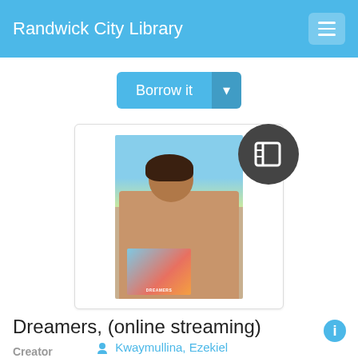Randwick City Library
Borrow it
[Figure (photo): Photo of a person smiling, holding a book titled 'Dreamers', with a book icon badge overlay in a dark circle. Photo is inside a white card with border.]
Dreamers, (online streaming)
Creator
Kwaymullina, Ezekiel
Author